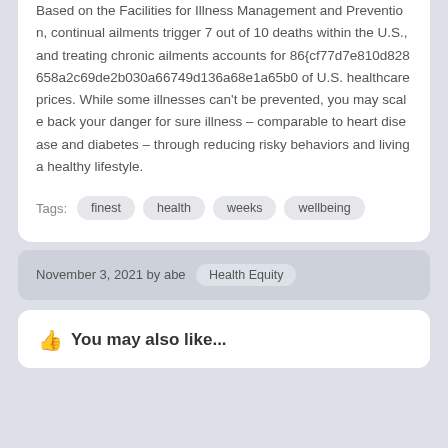Based on the Facilities for Illness Management and Prevention, continual ailments trigger 7 out of 10 deaths within the U.S., and treating chronic ailments accounts for 86{cf77d7e810d828658a2c69de2b030a66749d136a68e1a65b0 of U.S. healthcare prices. While some illnesses can't be prevented, you may scale back your danger for sure illness – comparable to heart disease and diabetes – through reducing risky behaviors and living a healthy lifestyle.
Tags: finest health weeks wellbeing
November 3, 2021 by abe  Health Equity
You may also like...